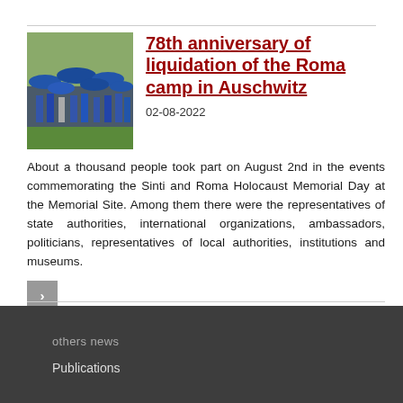[Figure (photo): Group of people with blue umbrellas and blue shirts at an outdoor memorial event]
78th anniversary of liquidation of the Roma camp in Auschwitz
02-08-2022
About a thousand people took part on August 2nd in the events commemorating the Sinti and Roma Holocaust Memorial Day at the Memorial Site. Among them there were the representatives of state authorities, international organizations, ambassadors, politicians, representatives of local authorities, institutions and museums.
others news
Publications